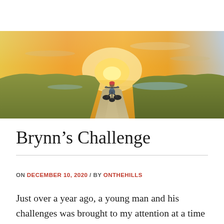[Figure (photo): A person in a hand-cycle or wheelchair-type vehicle on a gravel path, viewed from behind, facing a dramatic golden sunset over open moorland with a lake or sea in the background. The sky is orange and yellow with wispy clouds.]
Brynn's Challenge
ON DECEMBER 10, 2020 / BY ONTHEHILLS
Just over a year ago, a young man and his challenges was brought to my attention at a time when we were looking for the new Ordnance Survey GetOutside